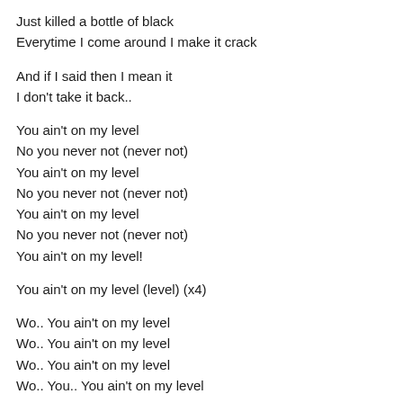Just killed a bottle of black
Everytime I come around I make it crack
And if I said then I mean it
I don't take it back..
You ain't on my level
No you never not (never not)
You ain't on my level
No you never not (never not)
You ain't on my level
No you never not (never not)
You ain't on my level!
You ain't on my level (level) (x4)
Wo.. You ain't on my level
Wo.. You ain't on my level
Wo.. You ain't on my level
Wo.. You.. You ain't on my level